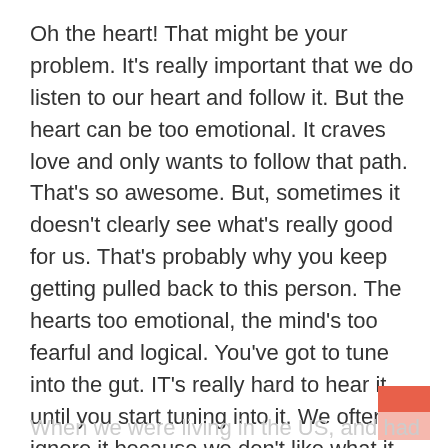Oh the heart! That might be your problem. It's really important that we do listen to our heart and follow it. But the heart can be too emotional. It craves love and only wants to follow that path. That's so awesome. But, sometimes it doesn't clearly see what's really good for us. That's probably why you keep getting pulled back to this person. The hearts too emotional, the mind's too fearful and logical. You've got to tune into the gut. IT's really hard to hear it, until you start tuning into it. We often ignore it because we don't like what it tells us. It might not be the easiest path it's telling us to walk upon and it might not be what our heart wants.
When we were living in the US, and had just lost...